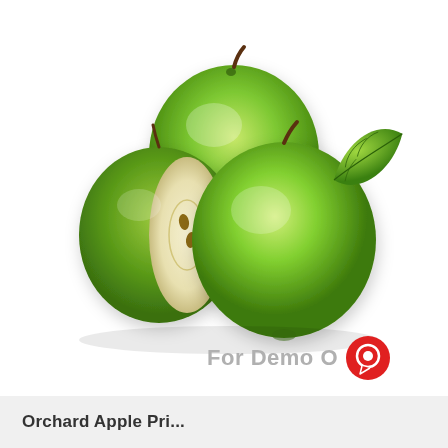[Figure (photo): Three green Granny Smith apples, one sliced in half showing seeds and core, with a green leaf, on a white background.]
For Demo O
Orchard Apple Pri...